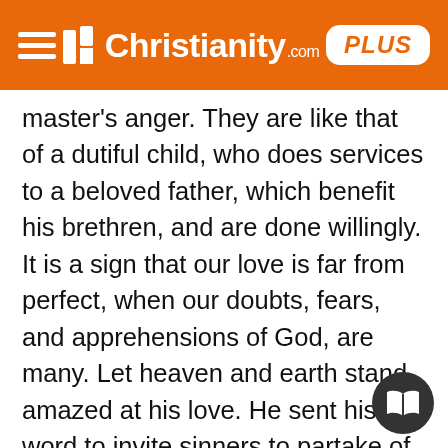Christianity.com PLUS
master's anger. They are like that of a dutiful child, who does services to a beloved father, which benefit his brethren, and are done willingly. It is a sign that our love is far from perfect, when our doubts, fears, and apprehensions of God, are many. Let heaven and earth stand amazed at his love. He sent his word to invite sinners to partake of this great salvation. Let them take the comfort of the happy change wrought in them, while they give him the glory. The love of God in Christ, in the hearts of Christians from the Spirit of adoption, is the great proof of conversion, must be tried by its effects on their temper, and